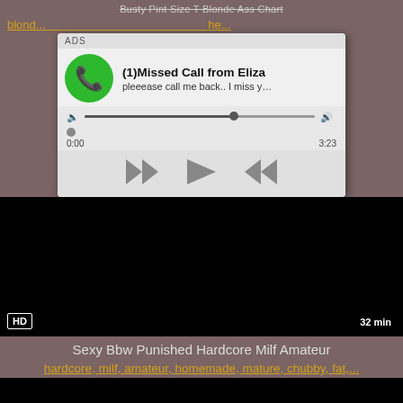Busty Pint Size T Blonde Ass Chart
blond... ...she...
[Figure (screenshot): Ad popup showing a missed call notification with phone icon, title '(1)Missed Call from Eliza', subtitle 'pleeease call me back.. I miss y...', audio progress bar at ~65%, time 0:00 to 3:23, and media controls (rewind, play, fast-forward).]
[Figure (screenshot): Black video player area with HD badge bottom-left and 32 min duration badge bottom-right.]
Sexy Bbw Punished Hardcore Milf Amateur
hardcore, milf, amateur, homemade, mature, chubby, fat,...
[Figure (screenshot): Black video player thumbnail area at bottom of page.]